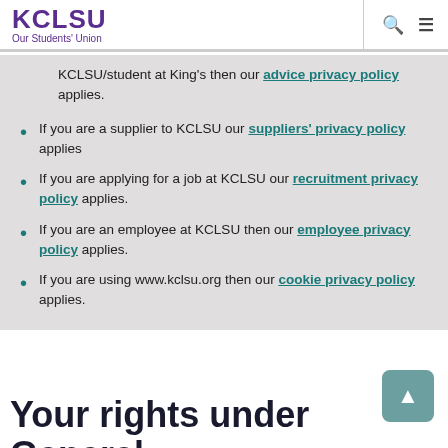KCLSU Our Students' Union
KCLSU/student at King's then our advice privacy policy applies.
If you are a supplier to KCLSU our suppliers' privacy policy applies
If you are applying for a job at KCLSU our recruitment privacy policy applies.
If you are an employee at KCLSU then our employee privacy policy applies.
If you are using www.kclsu.org then our cookie privacy policy applies.
Your rights under General